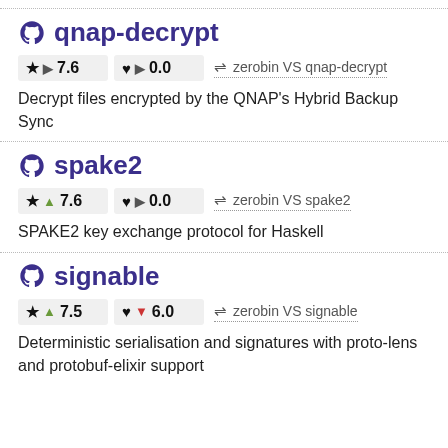qnap-decrypt
★ ▶ 7.6   ♥ ▶ 0.0   ⇌ zerobin VS qnap-decrypt
Decrypt files encrypted by the QNAP's Hybrid Backup Sync
spake2
★ ▲ 7.6   ♥ ▶ 0.0   ⇌ zerobin VS spake2
SPAKE2 key exchange protocol for Haskell
signable
★ ▲ 7.5   ♥ ▼ 6.0   ⇌ zerobin VS signable
Deterministic serialisation and signatures with proto-lens and protobuf-elixir support